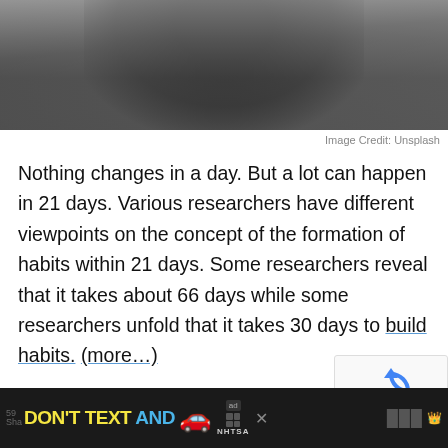[Figure (photo): Partial view of a person in a dark hoodie against a grey-blue background, cropped at the top of the page]
Image Credit: Unsplash
Nothing changes in a day. But a lot can happen in 21 days. Various researchers have different viewpoints on the concept of the formation of habits within 21 days. Some researchers reveal that it takes about 66 days while some researchers unfold that it takes 30 days to build habits. (more…)
[Figure (other): reCAPTCHA widget with spinning arrows icon and Privacy - Terms links]
DON'T TEXT AND [car emoji] ad NHTSA